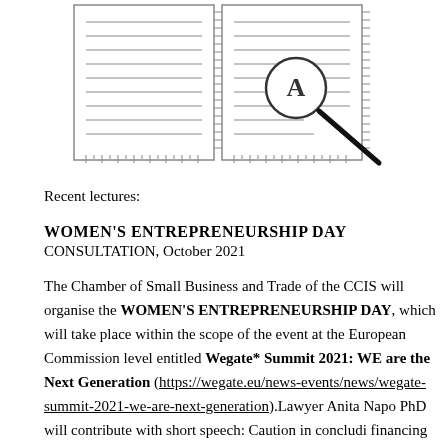[Figure (schematic): Illustration of two document pages side by side with horizontal lines representing text, and a magnifying glass with the letter A over the right page, with a diagonal pointer line extending to the lower right.]
Recent lectures:
WOMEN'S ENTREPRENEURSHIP DAY
CONSULTATION, October 2021
The Chamber of Small Business and Trade of the CCIS will organise the WOMEN'S ENTREPRENEURSHIP DAY, which will take place within the scope of the event at the European Commission level entitled Wegate* Summit 2021: WE are the Next Generation (https://wegate.eu/news-events/news/wegate-summit-2021-we-are-next-generation).Lawyer Anita Napo PhD will contribute with short speech: Caution in concludi financing agreements